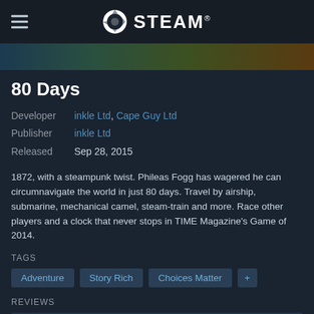STEAM
[Figure (screenshot): Partial game banner/artwork strip for 80 Days]
80 Days
Developer  inkle Ltd, Cape Guy Ltd
Publisher  inkle Ltd
Released  Sep 28, 2015
1872, with a steampunk twist. Phileas Fogg has wagered he can circumnavigate the world in just 80 days. Travel by airship, submarine, mechanical camel, steam-train and more. Race other players and a clock that never stops in TIME Magazine's Game of 2014.
TAGS
Adventure
Story Rich
Choices Matter
+
REVIEWS
Very Positive (92% of 971) ALL TIME